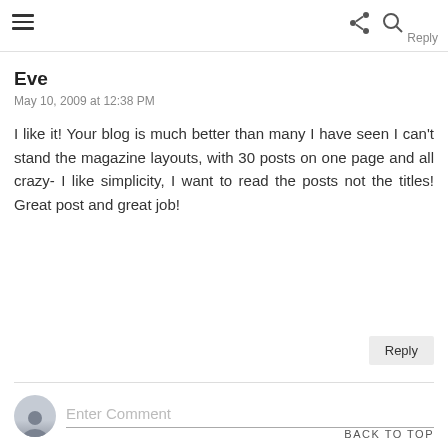☰  Reply
Eve
May 10, 2009 at 12:38 PM
I like it! Your blog is much better than many I have seen I can't stand the magazine layouts, with 30 posts on one page and all crazy- I like simplicity, I want to read the posts not the titles! Great post and great job!
Reply
Enter Comment
BACK TO TOP